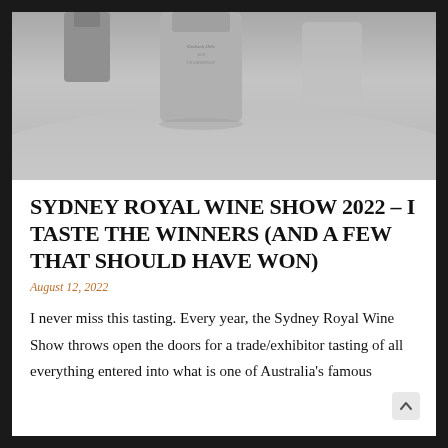[Figure (photo): Grayscale photo of wine bottles on a table, showing bottle tops and labels]
SYDNEY ROYAL WINE SHOW 2022 – I TASTE THE WINNERS (AND A FEW THAT SHOULD HAVE WON)
August 12, 2022
I never miss this tasting. Every year, the Sydney Royal Wine Show throws open the doors for a trade/exhibitor tasting of all everything entered into what is one of Australia's famous